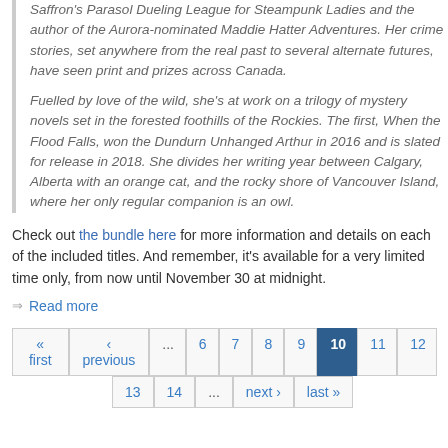Saffron's Parasol Dueling League for Steampunk Ladies and the author of the Aurora-nominated Maddie Hatter Adventures. Her crime stories, set anywhere from the real past to several alternate futures, have seen print and prizes across Canada.

Fuelled by love of the wild, she's at work on a trilogy of mystery novels set in the forested foothills of the Rockies. The first, When the Flood Falls, won the Dundurn Unhanged Arthur in 2016 and is slated for release in 2018. She divides her writing year between Calgary, Alberta with an orange cat, and the rocky shore of Vancouver Island, where her only regular companion is an owl.
Check out the bundle here for more information and details on each of the included titles. And remember, it's available for a very limited time only, from now until November 30 at midnight.
⇒ Read more
Pagination: « first ‹ previous ... 6 7 8 9 10 11 12 13 14 ... next › last »